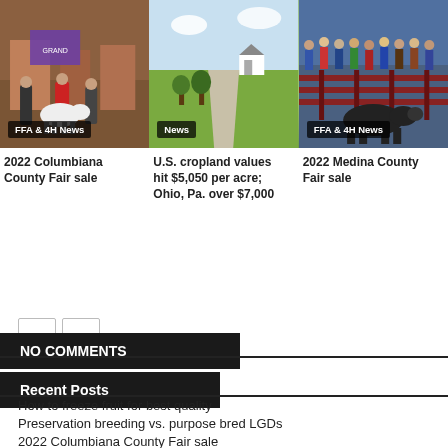[Figure (photo): Photo of FFA & 4H fair event with people and animal, labeled 'FFA & 4H News']
[Figure (photo): Photo of rural farm road and fields, labeled 'News']
[Figure (photo): Photo of county fair livestock event with people at fence, labeled 'FFA & 4H News']
2022 Columbiana County Fair sale
U.S. cropland values hit $5,050 per acre; Ohio, Pa. over $7,000
2022 Medina County Fair sale
NO COMMENTS
Recent Posts
How to freeze fruit for best quality
Preservation breeding vs. purpose bred LGDs
2022 Columbiana County Fair sale